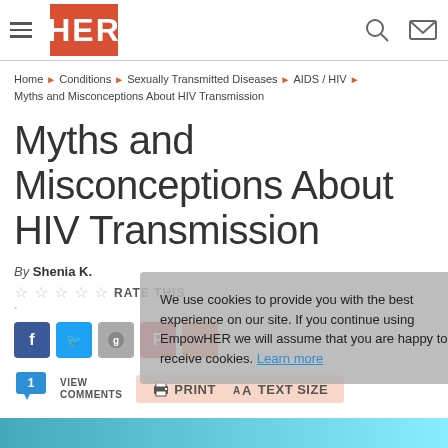HER
Home ► Conditions ► Sexually Transmitted Diseases ► AIDS / HIV ► Myths and Misconceptions About HIV Transmission
Myths and Misconceptions About HIV Transmission
By Shenia K.
☆ ☆ ☆ ☆ ☆  RATE THIS
VIEW COMMENTS  |  PRINT  |  TEXT SIZE
We use cookies to provide you with the best experience on our site. If you continue using EmpowHER we will assume that you are happy to receive cookies. Learn more